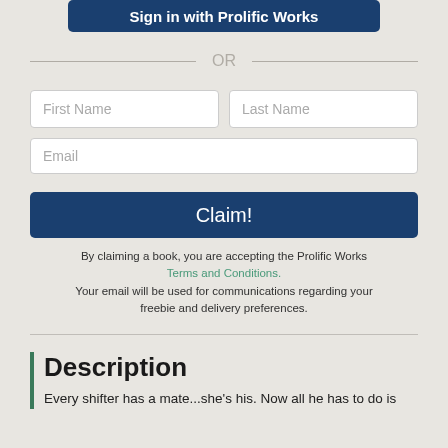[Figure (screenshot): Blue button labeled 'Sign in with Prolific Works']
OR
[Figure (screenshot): Form fields: First Name, Last Name, Email input boxes]
[Figure (screenshot): Blue 'Claim!' button]
By claiming a book, you are accepting the Prolific Works Terms and Conditions. Your email will be used for communications regarding your freebie and delivery preferences.
Description
Every shifter has a mate...she's his. Now all he has to do is